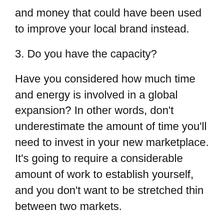and money that could have been used to improve your local brand instead.
3. Do you have the capacity?
Have you considered how much time and energy is involved in a global expansion? In other words, don't underestimate the amount of time you'll need to invest in your new marketplace. It's going to require a considerable amount of work to establish yourself, and you don't want to be stretched thin between two markets.
Start out by auditing your existing staff and processes to give you a clear idea of what your current employees are doing and whether they can dedicate a sufficient amount of time to the new business. Think about new roles that will be needed in the new business and how your current